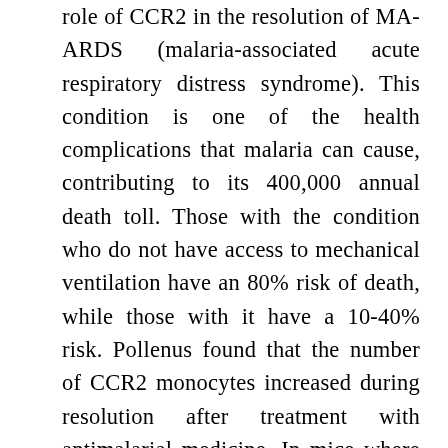role of CCR2 in the resolution of MA-ARDS (malaria-associated acute respiratory distress syndrome). This condition is one of the health complications that malaria can cause, contributing to its 400,000 annual death toll. Those with the condition who do not have access to mechanical ventilation have an 80% risk of death, while those with it have a 10-40% risk. Pollenus found that the number of CCR2 monocytes increased during resolution after treatment with antimalarial medicine. In mice where the CCR2 protein was silenced – known as CCR2 KO (knock out) mice – there was a reduction in the number of inflammatory monocytes in the lungs and the spleen, however, this did not affect the resolution of